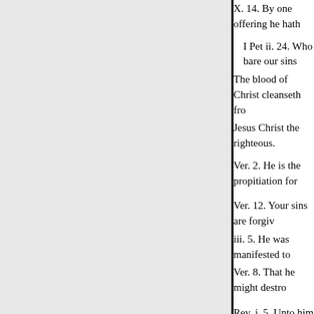X. 14. By one offering he hath
I Pet ii. 24. Who bare our sins The blood of Christ cleanseth fro Jesus Christ the righteous.
Ver. 2. He is the propitiation for
Ver. 12. Your sins are forgi iii. 5. He was manifested to Ver. 8. That he might destro
Rev. j. 5. Unto him that loved us priests unto God and his Father,
XVIII. Christ's love to his people them unto the end,
Ver. 34. A new commandment I
sv. 9. As the Father hath lov Hom. viii. 37. We are more Eph. v. ii. Christ hath loved Ver. 25. Christ loved the ch
Loved us.
Rev. i. 5. Unto him that loved us